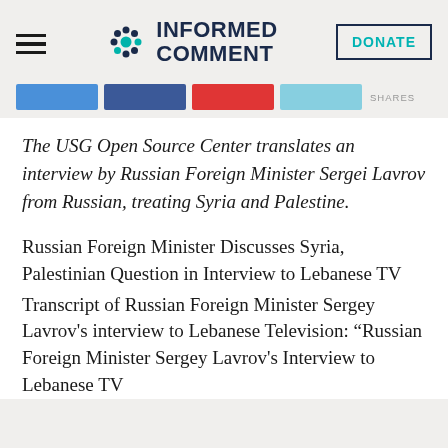INFORMED COMMENT
The USG Open Source Center translates an interview by Russian Foreign Minister Sergei Lavrov from Russian, treating Syria and Palestine.
Russian Foreign Minister Discusses Syria, Palestinian Question in Interview to Lebanese TV
Transcript of Russian Foreign Minister Sergey Lavrov's interview to Lebanese Television: "Russian Foreign Minister Sergey Lavrov's Interview to Lebanese TV